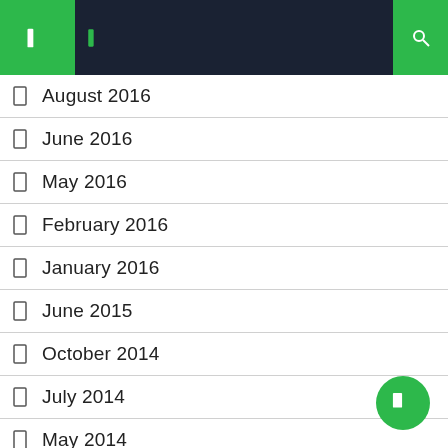Navigation header with menu and search icons
August 2016
June 2016
May 2016
February 2016
January 2016
June 2015
October 2014
July 2014
May 2014
April 2014